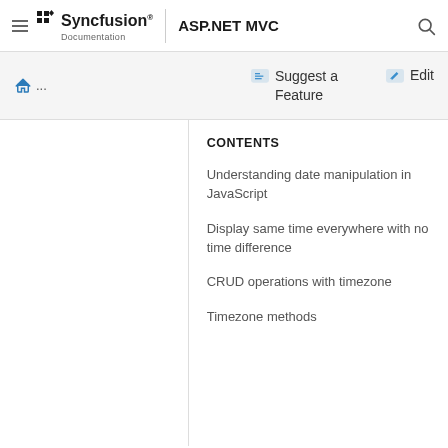Syncfusion Documentation | ASP.NET MVC
CONTENTS
Understanding date manipulation in JavaScript
Display same time everywhere with no time difference
CRUD operations with timezone
Timezone methods